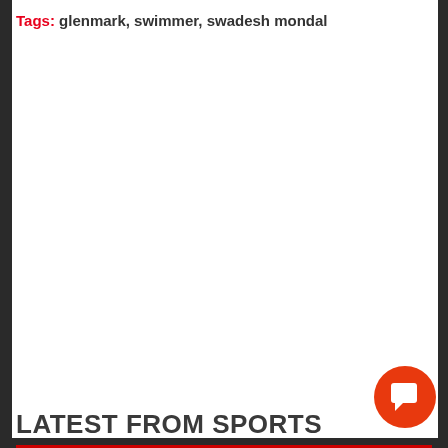Tags: glenmark, swimmer, swadesh mondal
LATEST FROM SPORTS